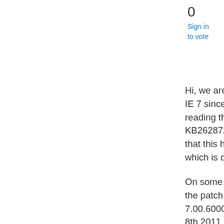0
Sign in
to vote
Hi, we are currently experiencing issues with drop down box in IE 7 since we installed cumulative patch KB2586448. After reading the KB article we decided to install the hotfix KB2628724 on the affected workstation. My understanding is that this hotfix installs version 7.00.6000.17104 of mshtml.dll which is dating from Sept 5th 2011.
On some workstation we're still having the issue after installing the patch, I found that those workstations have version 7.00.6000.21306 of mshtml.dll with a modified date of August 8th 2011. Since the patch is trying to update a DLL which already has a new